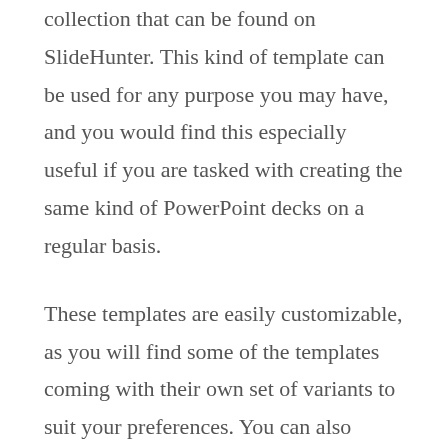collection that can be found on SlideHunter. This kind of template can be used for any purpose you may have, and you would find this especially useful if you are tasked with creating the same kind of PowerPoint decks on a regular basis.
These templates are easily customizable, as you will find some of the templates coming with their own set of variants to suit your preferences. You can also change things up yourself by editing the backgrounds, changing the formats, and choosing your own set of styles. You can also use your own color scheme, especially for the visuals, as well as insert your company or organization logo and slogan.